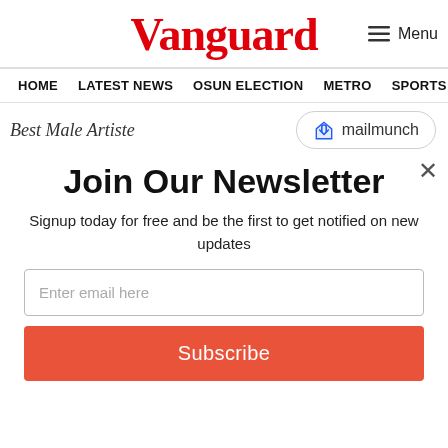Vanguard
Menu
HOME  LATEST NEWS  OSUN ELECTION  METRO  SPORTS  ENTERTA
Best Male Artiste
[Figure (logo): Mailmunch logo badge with blue M icon and text 'mailmunch']
×
Join Our Newsletter
Signup today for free and be the first to get notified on new updates
Enter email here
Subscribe